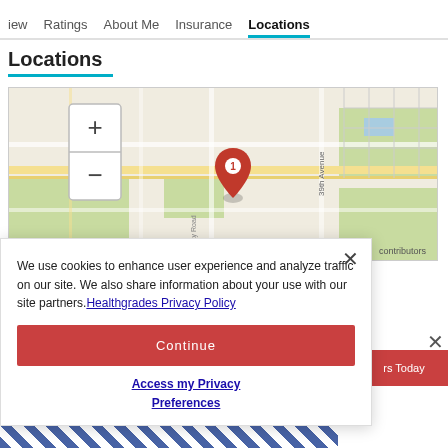iew   Ratings   About Me   Insurance   Locations
Locations
[Figure (map): Street map showing a location pin labeled '1' near the intersection of Bay Road and 39th Avenue. Map controls include + and - zoom buttons. Attribution: Leaflet | © OpenStreetMap contributors.]
We use cookies to enhance user experience and analyze traffic on our site. We also share information about your use with our site partners. Healthgrades Privacy Policy
Continue
Access my Privacy Preferences